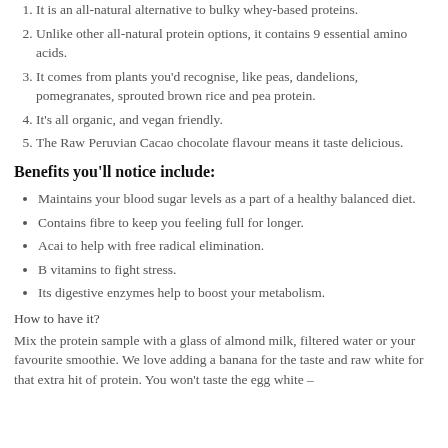1. It is an all-natural alternative to bulky whey-based proteins.
2. Unlike other all-natural protein options, it contains 9 essential amino acids.
3. It comes from plants you'd recognise, like peas, dandelions, pomegranates, sprouted brown rice and pea protein.
4. It's all organic, and vegan friendly.
5. The Raw Peruvian Cacao chocolate flavour means it taste delicious.
Benefits you'll notice include:
Maintains your blood sugar levels as a part of a healthy balanced diet.
Contains fibre to keep you feeling full for longer.
Acai to help with free radical elimination.
B vitamins to fight stress.
Its digestive enzymes help to boost your metabolism.
How to have it?
Mix the protein sample with a glass of almond milk, filtered water or your favourite smoothie. We love adding a banana for the taste and raw white for that extra hit of protein. You won't taste the egg white –